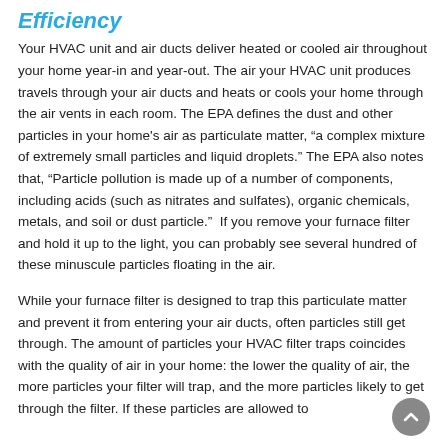Efficiency
Your HVAC unit and air ducts deliver heated or cooled air throughout your home year-in and year-out. The air your HVAC unit produces travels through your air ducts and heats or cools your home through the air vents in each room. The EPA defines the dust and other particles in your home's air as particulate matter, “a complex mixture of extremely small particles and liquid droplets.” The EPA also notes that, “Particle pollution is made up of a number of components, including acids (such as nitrates and sulfates), organic chemicals, metals, and soil or dust particle.”  If you remove your furnace filter and hold it up to the light, you can probably see several hundred of these minuscule particles floating in the air.
While your furnace filter is designed to trap this particulate matter and prevent it from entering your air ducts, often particles still get through. The amount of particles your HVAC filter traps coincides with the quality of air in your home: the lower the quality of air, the more particles your filter will trap, and the more particles likely to get through the filter. If these particles are allowed to